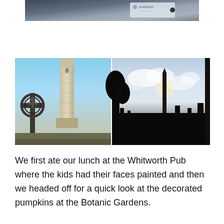[Figure (photo): Partial view of a sign or map, appears to be related to Glasnevin area, dark textured surface visible]
[Figure (photo): Two side-by-side photos: left shows a tall round stone tower with a Celtic cross in the foreground against a blue sky; right shows a silhouetted obelisk or tower among dark trees against a partly cloudy sky]
We first ate our lunch at the Whitworth Pub where the kids had their faces painted and then we headed off for a quick look at the decorated pumpkins at the Botanic Gardens.